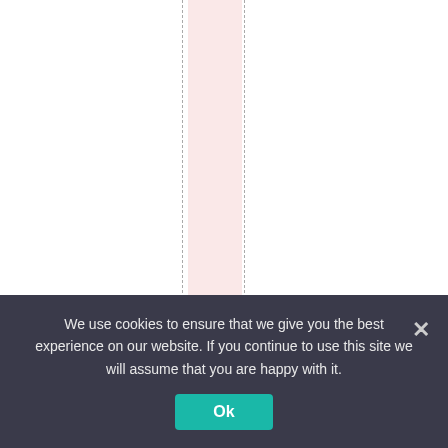title bit of warming. b
We use cookies to ensure that we give you the best experience on our website. If you continue to use this site we will assume that you are happy with it.